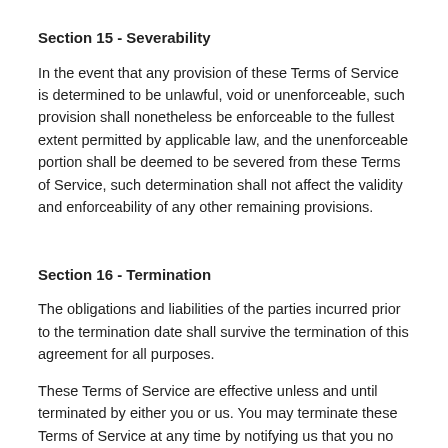Section 15 - Severability
In the event that any provision of these Terms of Service is determined to be unlawful, void or unenforceable, such provision shall nonetheless be enforceable to the fullest extent permitted by applicable law, and the unenforceable portion shall be deemed to be severed from these Terms of Service, such determination shall not affect the validity and enforceability of any other remaining provisions.
Section 16 - Termination
The obligations and liabilities of the parties incurred prior to the termination date shall survive the termination of this agreement for all purposes.
These Terms of Service are effective unless and until terminated by either you or us. You may terminate these Terms of Service at any time by notifying us that you no longer wish to